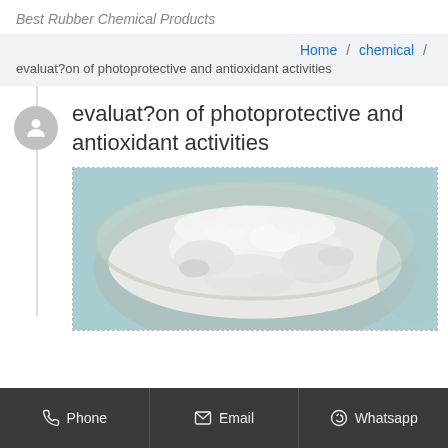Best Rubber Chemical Products
Home / chemical / evaluat?on of photoprotective and antioxidant activities
evaluat?on of photoprotective and antioxidant activities
[Figure (photo): White powder in a glass bowl on a light blue background, representing a chemical substance.]
Phone   Email   Whatsapp